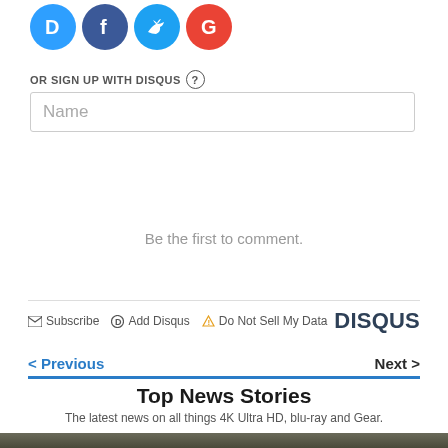[Figure (logo): Four social login icons: Disqus (blue D), Facebook (dark blue f), Twitter (light blue bird), Google (red G)]
OR SIGN UP WITH DISQUS ?
Name
Be the first to comment.
Subscribe  Add Disqus  Do Not Sell My Data   DISQUS
< Previous
Next >
Top News Stories
The latest news on all things 4K Ultra HD, blu-ray and Gear.